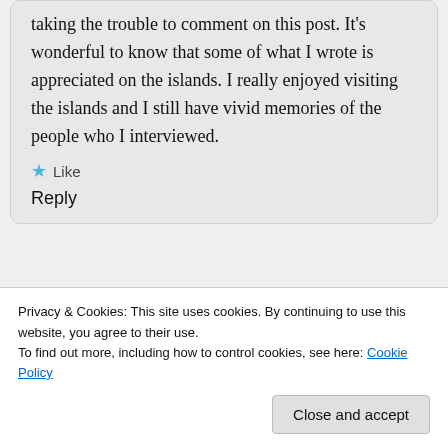taking the trouble to comment on this post. It’s wonderful to know that some of what I wrote is appreciated on the islands. I really enjoyed visiting the islands and I still have vivid memories of the people who I interviewed.
★ Like
Reply
[Figure (illustration): Pink circular avatar icon with a decorative pattern resembling a hedgehog or similar figure]
Island, it’s history and it’s
Privacy & Cookies: This site uses cookies. By continuing to use this website, you agree to their use.
To find out more, including how to control cookies, see here: Cookie Policy
Close and accept